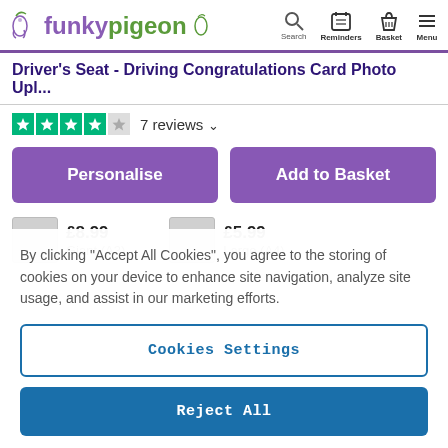funkypigeon — Search, Reminders, Basket, Menu
Driver's Seat - Driving Congratulations Card Photo Upl...
7 reviews
Personalise | Add to Basket
£8.99 Giant (A3)  |  £5.99 Large (A4)
By clicking "Accept All Cookies", you agree to the storing of cookies on your device to enhance site navigation, analyze site usage, and assist in our marketing efforts.
Cookies Settings
Reject All